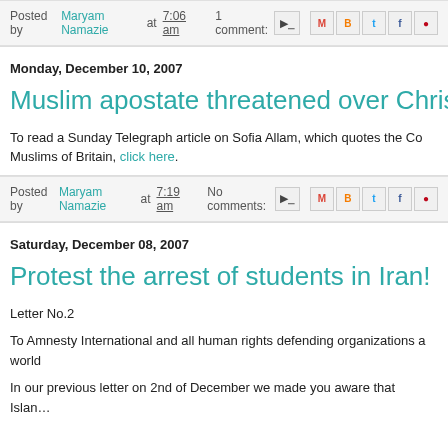Posted by Maryam Namazie at 7:06 am   1 comment:
Monday, December 10, 2007
Muslim apostate threatened over Christianit…
To read a Sunday Telegraph article on Sofia Allam, which quotes the Co… Muslims of Britain, click here.
Posted by Maryam Namazie at 7:19 am   No comments:
Saturday, December 08, 2007
Protest the arrest of students in Iran!
Letter No.2
To Amnesty International and all human rights defending organizations a… world
In our previous letter on 2nd of December we made you aware that Islan…